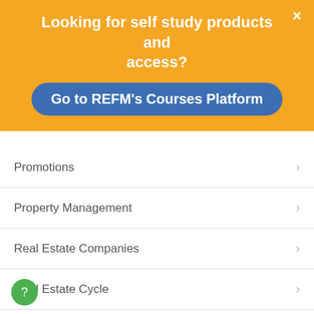Looking for self study products and access?
Go to REFM's Courses Platform
Promotions
Property Management
Real Estate Companies
Real Estate Cycle
Real Estate Education
Real Estate Education and Students
Real Estate Market
Real Estate Private Equity